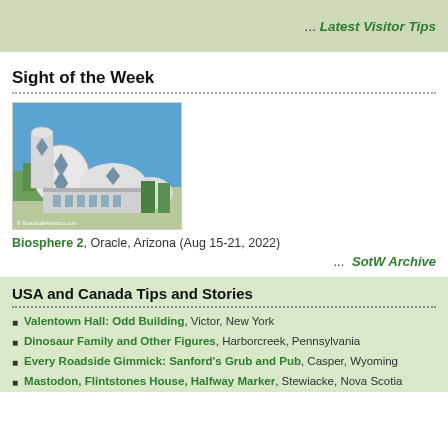... Latest Visitor Tips
Sight of the Week
[Figure (photo): Photo of Biosphere 2 building with white geodesic dome structures against a blue sky, copyright RoadsideAmerica.com]
Biosphere 2, Oracle, Arizona (Aug 15-21, 2022)
... SotW Archive
USA and Canada Tips and Stories
Valentown Hall: Odd Building, Victor, New York
Dinosaur Family and Other Figures, Harborcreek, Pennsylvania
Every Roadside Gimmick: Sanford's Grub and Pub, Casper, Wyoming
Mastodon, Flintstones House, Halfway Marker, Stewiacke, Nova Scotia